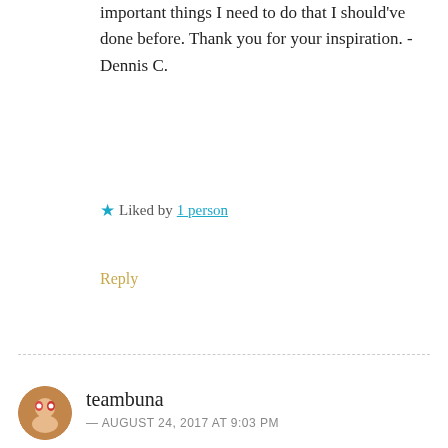important things I need to do that I should've done before. Thank you for your inspiration. -Dennis C.
★ Liked by 1 person
Reply
teambuna
— AUGUST 24, 2017 AT 9:03 PM
Dennis, i'm so glad you found my blog, and thank you so much for sharing this with me. Your family is very dear to me and I hope you are aware of the prayer that is going out for the two of you in your treatment and your entire family so